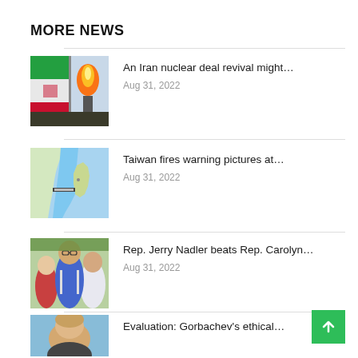MORE NEWS
[Figure (photo): Iranian flag with gas flare in background]
An Iran nuclear deal revival might…
Aug 31, 2022
[Figure (map): Map showing Taiwan strait region]
Taiwan fires warning pictures at…
Aug 31, 2022
[Figure (photo): Rep. Jerry Nadler at an outdoor event with crowd]
Rep. Jerry Nadler beats Rep. Carolyn…
Aug 31, 2022
[Figure (photo): Portrait photo for Gorbachev evaluation story]
Evaluation: Gorbachev's ethical…